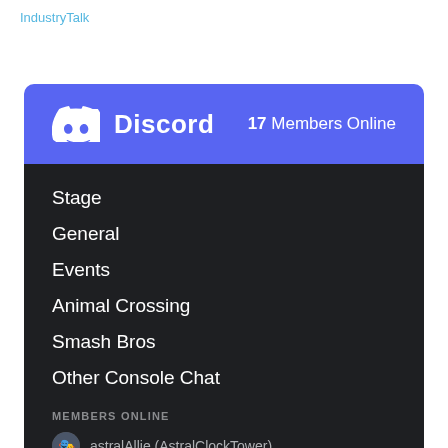IndustryTalk
[Figure (screenshot): Discord widget showing a server named with 17 Members Online, channel list including Stage, General, Events, Animal Crossing, Smash Bros, Other Console Chat, and a Members Online section listing astralAllie (AstralClockTower), Bill Gardner (Deep End Games), CaptainK923]
Stage
General
Events
Animal Crossing
Smash Bros
Other Console Chat
MEMBERS ONLINE
astralAllie (AstralClockTower)
Bill Gardner (Deep End Games)
CaptainK923